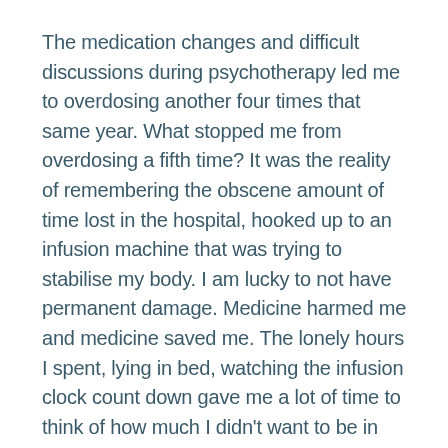The medication changes and difficult discussions during psychotherapy led me to overdosing another four times that same year. What stopped me from overdosing a fifth time? It was the reality of remembering the obscene amount of time lost in the hospital, hooked up to an infusion machine that was trying to stabilise my body. I am lucky to not have permanent damage. Medicine harmed me and medicine saved me. The lonely hours I spent, lying in bed, watching the infusion clock count down gave me a lot of time to think of how much I didn't want to be in this situation again.
Unfortunately, mental health is sneaky, and the suppression of my oldest coping mechanism led to others rearing up. I began to physically get violent with myself if I became upset, causing, concussions,